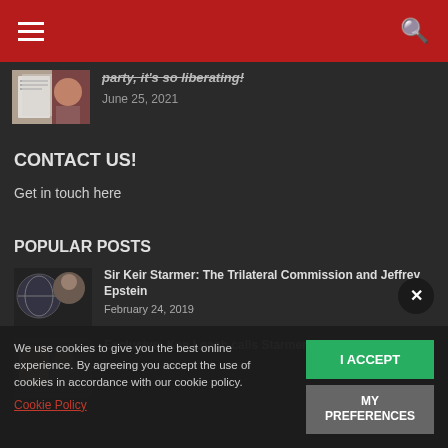Navigation bar with hamburger menu and search icon
[Figure (photo): Partial article thumbnail showing document and person]
party, it's so liberating!
June 25, 2021
CONTACT US!
Get in touch here
POPULAR POSTS
[Figure (photo): Thumbnail of Sir Keir Starmer with globe/world map overlay]
Sir Keir Starmer: The Trilateral Commission and Jeffrey Epstein
February 24, 2019
[Figure (photo): Thumbnail of judges/legal figures]
Exclusive: Ken Loach calls Starmer, what were his...
Cookie consent overlay: We use cookies to give you the best online experience. By agreeing you accept the use of cookies in accordance with our cookie policy.
Cookie Policy
I ACCEPT
MY PREFERENCES